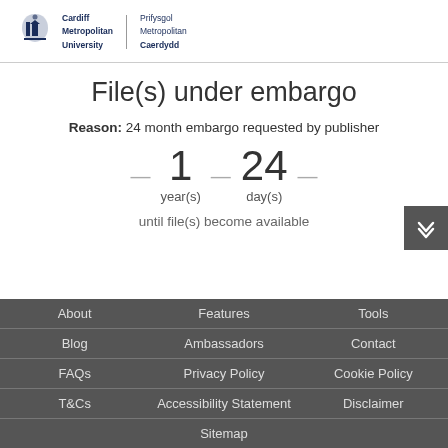Cardiff Metropolitan University | Prifysgol Metropolitan Caerdydd
File(s) under embargo
Reason: 24 month embargo requested by publisher
1 year(s) — 24 day(s)
until file(s) become available
About | Features | Tools | Blog | Ambassadors | Contact | FAQs | Privacy Policy | Cookie Policy | T&Cs | Accessibility Statement | Disclaimer | Sitemap